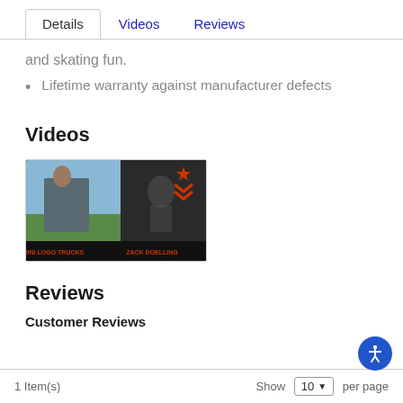Details | Videos | Reviews
and skating fun.
Lifetime warranty against manufacturer defects
Videos
[Figure (photo): Video thumbnail showing a skateboarder outdoors with MINI LOGO TRUCKS and ZACK DOELLING text overlay and orange military chevron logo]
Reviews
Customer Reviews
1 Item(s)   Show 10 per page